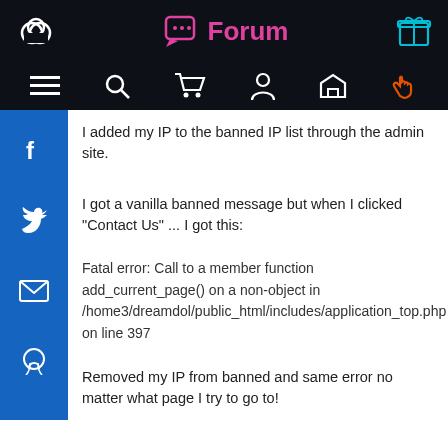Forum
I added my IP to the banned IP list through the admin site.
I got a vanilla banned message but when I clicked "Contact Us" ... I got this:
Fatal error: Call to a member function add_current_page() on a non-object in /home3/dreamdol/public_html/includes/application_top.php on line 397
Removed my IP from banned and same error no matter what page I try to go to!